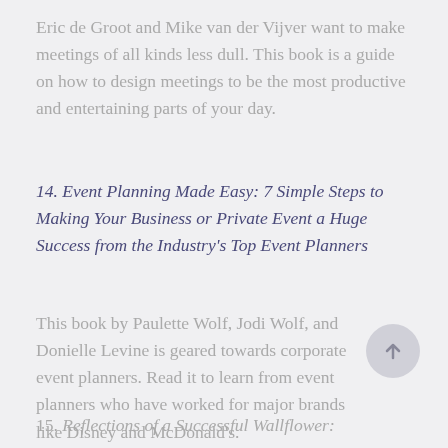Eric de Groot and Mike van der Vijver want to make meetings of all kinds less dull. This book is a guide on how to design meetings to be the most productive and entertaining parts of your day.
14. Event Planning Made Easy: 7 Simple Steps to Making Your Business or Private Event a Huge Success from the Industry's Top Event Planners
This book by Paulette Wolf, Jodi Wolf, and Donielle Levine is geared towards corporate event planners. Read it to learn from event planners who have worked for major brands like Disney and McDonald's.
15. Reflections of a Successful Wallflower: